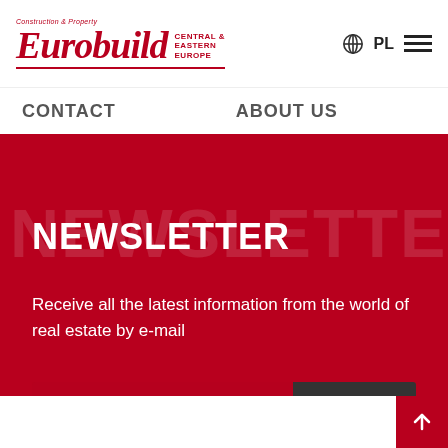[Figure (logo): Eurobuild Central & Eastern Europe logo in red with italic serif font and small tagline 'Construction & Property']
PL
CONTACT
ABOUT US
NEWSLETTER
Receive all the latest information from the world of real estate by e-mail
E-mail address
SIGN IN